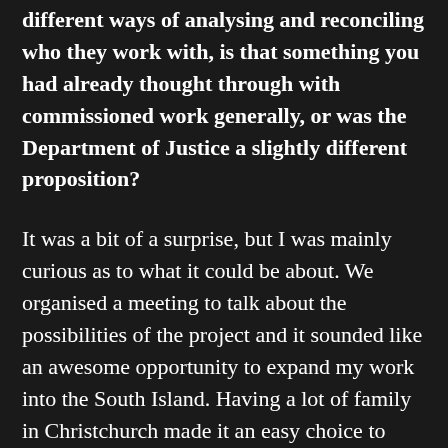different ways of analysing and reconciling who they work with, is that something you had already thought through with commissioned work generally, or was the Department of Justice a slightly different proposition?
It was a bit of a surprise, but I was mainly curious as to what it could be about. We organised a meeting to talk about the possibilities of the project and it sounded like an awesome opportunity to expand my work into the South Island. Having a lot of family in Christchurch made it an easy choice to head there.
...